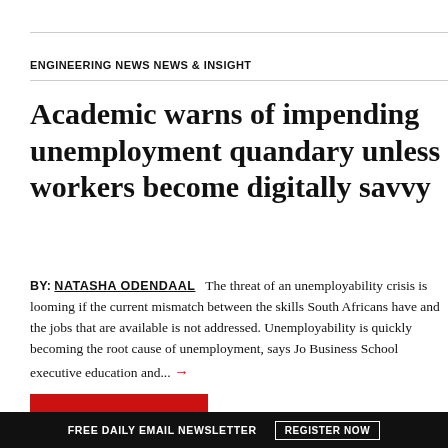ENGINEERING NEWS NEWS & INSIGHT
Academic warns of impending unemployment quandary unless workers become digitally savvy
BY: NATASHA ODENDAAL   The threat of an unemployability crisis is looming if the current mismatch between the skills South Africans have and the jobs that are available is not addressed. Unemployability is quickly becoming the root cause of unemployment, says Jo Business School executive education and... →
Subscribe Now
FREE DAILY EMAIL NEWSLETTER   REGISTER NOW